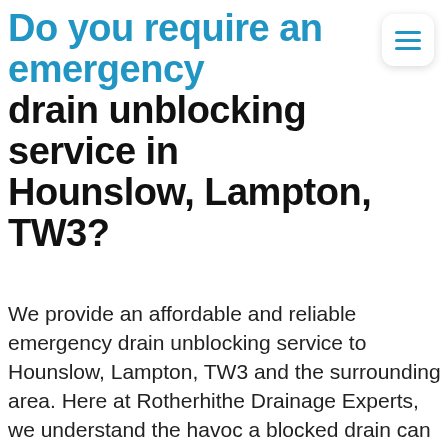Do you require an emergency drain unblocking service in Hounslow, Lampton, TW3?
We provide an affordable and reliable emergency drain unblocking service to Hounslow, Lampton, TW3 and the surrounding area. Here at Rotherhithe Drainage Experts, we understand the havoc a blocked drain can cause. From a clogged toilet to a collapsed drain, we are ready to help you 24 hours of the day, 7 days a week. Whilst there are many give away signs that a blockage is forming in your drainage system, many issues occur too quickly for you to prevent damage. We regularly deal with emergency drainage issues in Hounslow, Lampton, TW3 and the surrounding area. On receiving your call, we are focused on resolving your